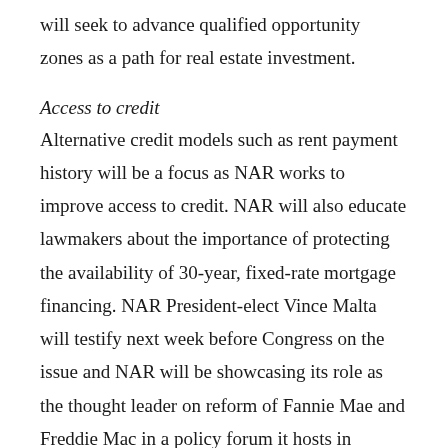will seek to advance qualified opportunity zones as a path for real estate investment.
Access to credit
Alternative credit models such as rent payment history will be a focus as NAR works to improve access to credit. NAR will also educate lawmakers about the importance of protecting the availability of 30-year, fixed-rate mortgage financing. NAR President-elect Vince Malta will testify next week before Congress on the issue and NAR will be showcasing its role as the thought leader on reform of Fannie Mae and Freddie Mac in a policy forum it hosts in Washington next year